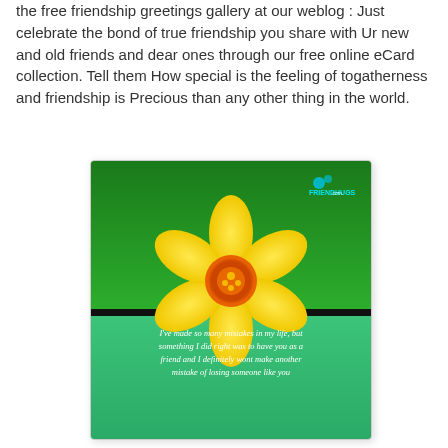the free friendship greetings gallery at our weblog : Just celebrate the bond of true friendship you share with Ur new and old friends and dear ones through our free online eCard collection. Tell them How special is the feeling of togatherness and friendship is Precious than any other thing in the world.
[Figure (illustration): A friendship eCard featuring a yellow daffodil flower with an orange center on a green background. The card has text at the bottom reading: 'I've made so many mistakes in my life, but something I did right was to have you as a friend and I definitely wont make another mistake of losing someone like you'. A small FRIENDHUGS.com logo appears in the top right corner.]